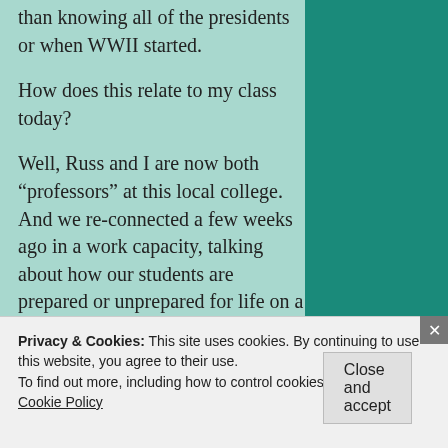than knowing all of the presidents or when WWII started.
How does this relate to my class today?
Well, Russ and I are now both “professors” at this local college. And we re-connected a few weeks ago in a work capacity, talking about how our students are prepared or unprepared for life on a college campus. We rekindled this discussion from a few years ago, and I mentioned that in the self-reflections that I
Privacy & Cookies: This site uses cookies. By continuing to use this website, you agree to their use.
To find out more, including how to control cookies, see here: Cookie Policy
Close and accept